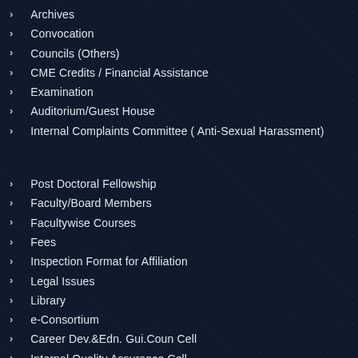Archives
Convocation
Councils (Others)
CME Credits / Financial Assistance
Examination
Auditorium/Guest House
Internal Complaints Committee ( Anti-Sexual Harassment)
Post Doctoral Fellowship
Faculty/Board Members
Facultywise Courses
Fees
Inspection Format for Affiliation
Legal Issues
Library
e-Consortium
Career Dev.&Edn. Gui.Coun Cell
Internal Quality Assurance Cell
Eligibility/Migration Certificate Verification